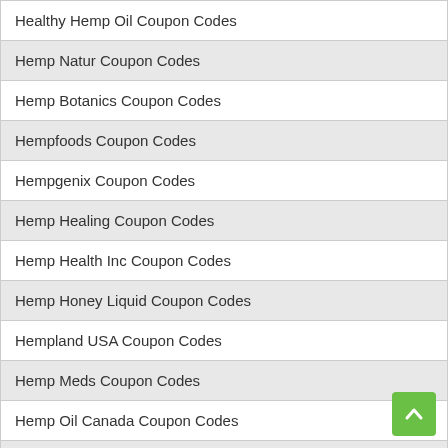Healthy Hemp Oil Coupon Codes
Hemp Natur Coupon Codes
Hemp Botanics Coupon Codes
Hempfoods Coupon Codes
Hempgenix Coupon Codes
Hemp Healing Coupon Codes
Hemp Health Inc Coupon Codes
Hemp Honey Liquid Coupon Codes
Hempland USA Coupon Codes
Hemp Meds Coupon Codes
Hemp Oil Canada Coupon Codes
Hemp Traders Coupon Codes
Hempture Coupon Codes